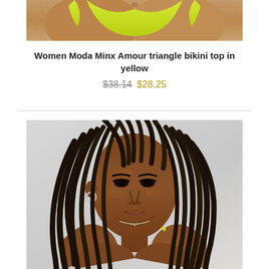[Figure (photo): Partial photo of a model wearing a yellow bikini, cropped to show lower torso against a light background]
Women Moda Minx Amour triangle bikini top in yellow
$38.14  $28.25
[Figure (photo): Portrait photo of a young woman with long black box braids, wearing a yellow bikini top and a delicate necklace, looking at the camera against a light grey background]